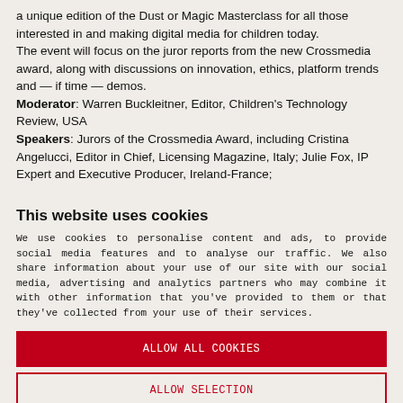a unique edition of the Dust or Magic Masterclass for all those interested in and making digital media for children today.
The event will focus on the juror reports from the new Crossmedia award, along with discussions on innovation, ethics, platform trends and — if time — demos.
Moderator: Warren Buckleitner, Editor, Children's Technology Review, USA
Speakers: Jurors of the Crossmedia Award, including Cristina Angelucci, Editor in Chief, Licensing Magazine, Italy; Julie Fox, IP Expert and Executive Producer, Ireland-France;
This website uses cookies
We use cookies to personalise content and ads, to provide social media features and to analyse our traffic. We also share information about your use of our site with our social media, advertising and analytics partners who may combine it with other information that you've provided to them or that they've collected from your use of their services.
ALLOW ALL COOKIES
ALLOW SELECTION
USE NECESSARY COOKIES ONLY